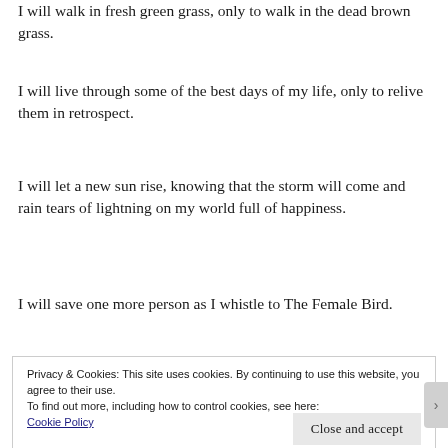I will walk in fresh green grass, only to walk in the dead brown grass.
I will live through some of the best days of my life, only to relive them in retrospect.
I will let a new sun rise, knowing that the storm will come and rain tears of lightning on my world full of happiness.
I will save one more person as I whistle to The Female Bird.
Privacy & Cookies: This site uses cookies. By continuing to use this website, you agree to their use.
To find out more, including how to control cookies, see here:
Cookie Policy
Close and accept